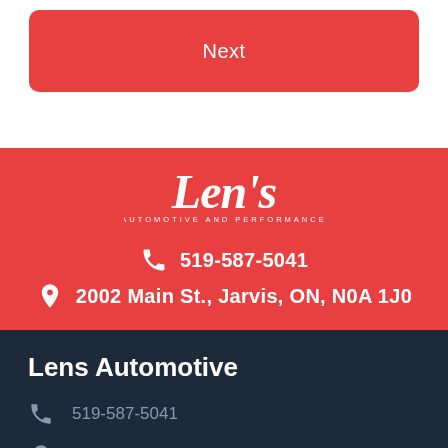Next
[Figure (logo): Len's Automotive and Performance script logo in white on red background]
519-587-5041
2002 Main St., Jarvis, ON, N0A 1J0
Lens Automotive
519-587-5041
2002 Main St., Jarvis, ON, N0A 1J0